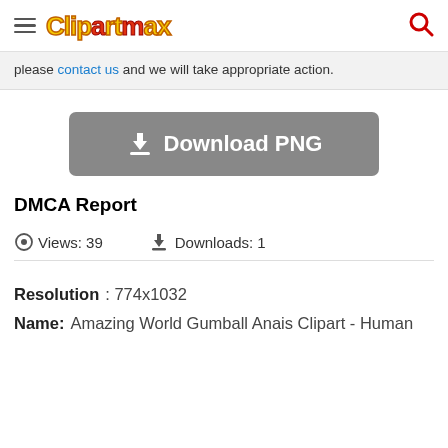ClipartMax
please contact us and we will take appropriate action.
[Figure (other): Gray Download PNG button with download icon]
DMCA Report
Views: 39   Downloads: 1
Resolution : 774x1032
Name: Amazing World Gumball Anais Clipart - Human